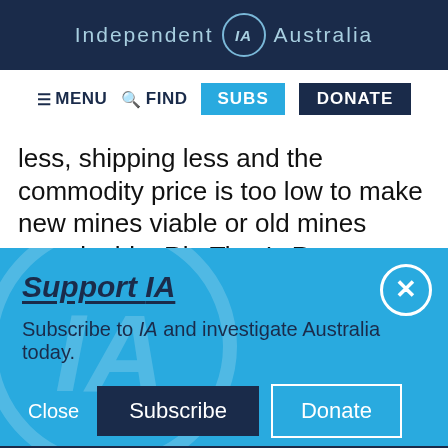Independent IA Australia
≡ MENU  🔍 FIND  SUBS  DONATE
less, shipping less and the commodity price is too low to make new mines viable or old mines sustainable. Rio Tinto's Ranger uranium mine in Kakadu, Australia's oldest operation, is limping
Support IA
Subscribe to IA and investigate Australia today.
Close   Subscribe   Donate
Twitter  Facebook  LinkedIn  Flipboard  Link  Plus